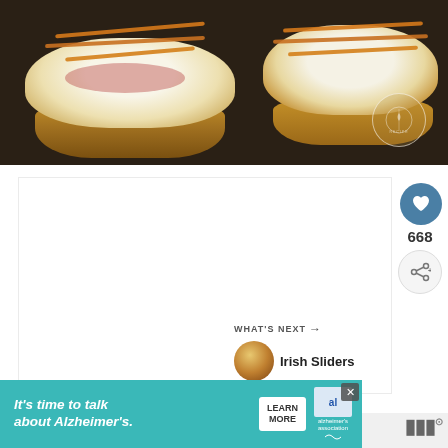[Figure (photo): Close-up photo of food items that appear to be open-faced sandwiches or sliders with melted white cheese and orange sauce drizzled on top, on a dark background. A circular watermark/logo is visible in the lower right of the image.]
[Figure (infographic): White content area with social media interaction buttons on the right side: a blue heart/like button with count 668, and a share button with a share icon (arrows). Below these is a 'WHAT'S NEXT →' section showing a thumbnail and text 'Irish Sliders'.]
668
WHAT'S NEXT → Irish Sliders
[Figure (screenshot): Advertisement banner with teal/turquoise background. Text reads: It's time to talk about Alzheimer's. Includes a LEARN MORE button and the Alzheimer's Association logo. A close (X) button is in the upper right corner.]
It's time to talk about Alzheimer's.
LEARN MORE